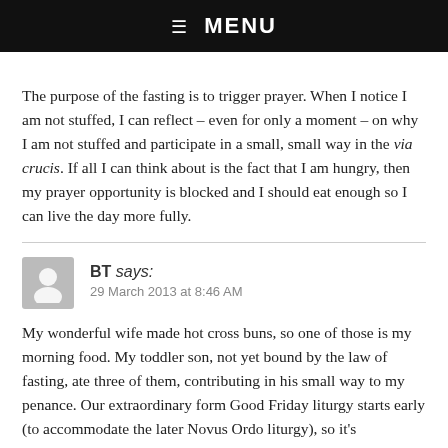☰ MENU
The purpose of the fasting is to trigger prayer. When I notice I am not stuffed, I can reflect – even for only a moment – on why I am not stuffed and participate in a small, small way in the via crucis. If all I can think about is the fact that I am hungry, then my prayer opportunity is blocked and I should eat enough so I can live the day more fully.
BT says:
29 March 2013 at 8:46 AM
My wonderful wife made hot cross buns, so one of those is my morning food. My toddler son, not yet bound by the law of fasting, ate three of them, contributing in his small way to my penance. Our extraordinary form Good Friday liturgy starts early (to accommodate the later Novus Ordo liturgy), so it's